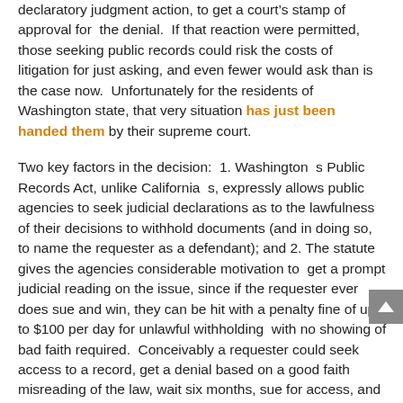declaratory judgment action, to get a court’s stamp of approval for the denial. If that reaction were permitted, those seeking public records could risk the costs of litigation for just asking, and even fewer would ask than is the case now. Unfortunately for the residents of Washington state, that very situation has just been handed them by their supreme court.
Two key factors in the decision: 1. Washington’s Public Records Act, unlike California’s, expressly allows public agencies to seek judicial declarations as to the lawfulness of their decisions to withhold documents (and in doing so, to name the requester as a defendant); and 2. The statute gives the agencies considerable motivation to get a prompt judicial reading on the issue, since if the requester ever does sue and win, they can be hit with a penalty fine of up to $100 per day for unlawful withholding with no showing of bad faith required. Conceivably a requester could seek access to a record, get a denial based on a good faith misreading of the law, wait six months, sue for access, and get an order for disclosure, recovery of its attorney